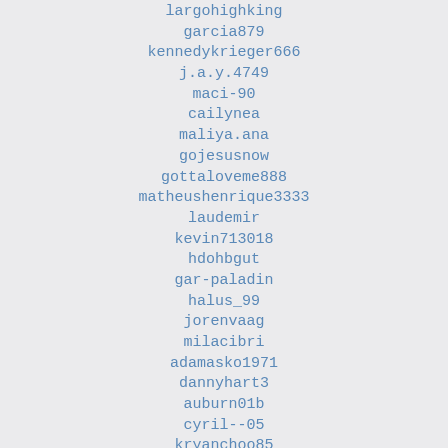largohighking
garcia879
kennedykrieger666
j.a.y.4749
maci-90
cailynea
maliya.ana
gojesusnow
gottaloveme888
matheushenrique3333
laudemir
kevin713018
hdohbgut
gar-paladin
halus_99
jorenvaag
milacibri
adamasko1971
dannyhart3
auburn01b
cyril--05
kryanchoo85
barrington.goldson
bruna.consorte